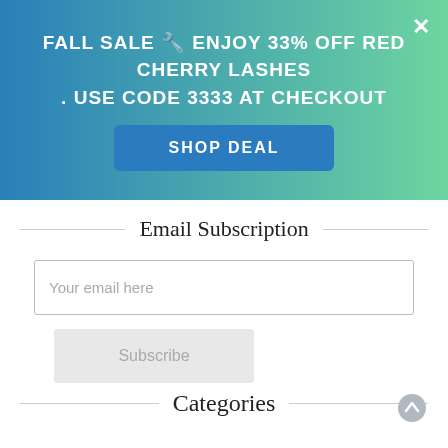FALL SALE 🔧 ENJOY 33% OFF RED CHERRY LASHES . USE CODE 3333 AT CHECKOUT
SHOP DEAL
Email Subscription
Your email here
Subscribe
Categories